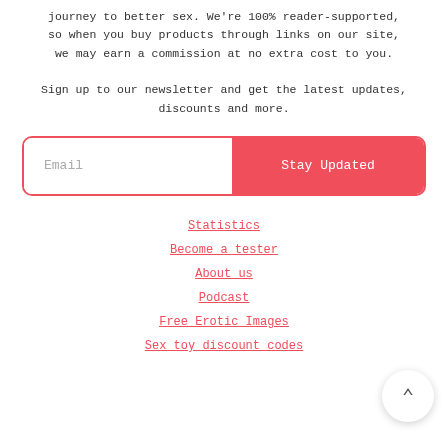Bedbible.com is your one and only source on the journey to better sex. We're 100% reader-supported, so when you buy products through links on our site, we may earn a commission at no extra cost to you.
Sign up to our newsletter and get the latest updates, discounts and more.
[Figure (other): Email input field with 'Email' placeholder text and a red 'Stay Updated' button, contained in a rounded rectangle with red border]
Statistics
Become a tester
About us
Podcast
Free Erotic Images
Sex toy discount codes